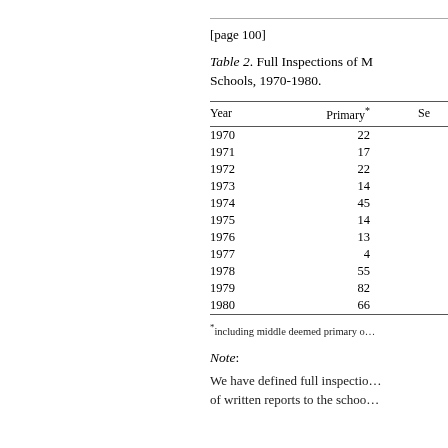[page 100]
Table 2. Full Inspections of M Schools, 1970-1980.
| Year | Primary* | Se… |
| --- | --- | --- |
| 1970 | 22 |  |
| 1971 | 17 |  |
| 1972 | 22 |  |
| 1973 | 14 |  |
| 1974 | 45 |  |
| 1975 | 14 |  |
| 1976 | 13 |  |
| 1977 | 4 |  |
| 1978 | 55 |  |
| 1979 | 82 |  |
| 1980 | 66 |  |
*including middle deemed primary o…
Note:
We have defined full inspectio… of written reports to the schoo…